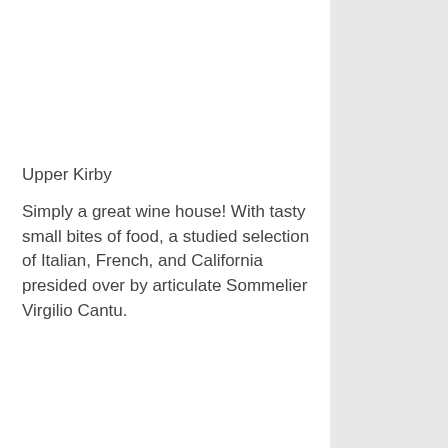Upper Kirby
Simply a great wine house! With tasty small bites of food, a studied selection of Italian, French, and California presided over by articulate Sommelier Virgilio Cantu.